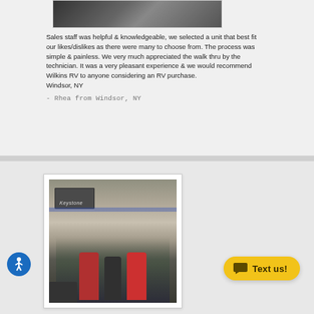[Figure (photo): Photo of people in front of an RV, partially visible at top of page]
Sales staff was helpful & knowledgeable, we selected a unit that best fit our likes/dislikes as there were many to choose from. The process was simple & painless. We very much appreciated the walk thru by the technician. It was a very pleasant experience & we would recommend Wilkins RV to anyone considering an RV purchase.
Windsor, NY
- Rhea from Windsor, NY
[Figure (photo): Photo of three people standing in front of a Keystone RV/trailer outside]
[Figure (other): Accessibility icon button (blue circle with person figure)]
[Figure (other): Text us! button in yellow with chat icon]